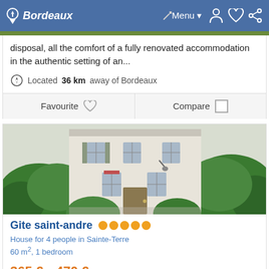Bordeaux  Menu
disposal, all the comfort of a fully renovated accommodation in the authentic setting of an...
Located 36 km away of Bordeaux
Favourite   Compare
[Figure (photo): Exterior photo of a French house with white facade and green bushes/trees in front, Gite saint-andre property]
Gite saint-andre
House for 4 people in Sainte-Terre
60 m², 1 bedroom
365 € to 470 € per week
Cottage located in the calm and beauty of the